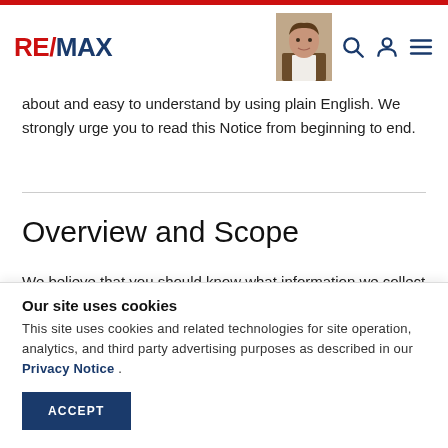RE/MAX
about and easy to understand by using plain English. We strongly urge you to read this Notice from beginning to end.
Overview and Scope
We believe that you should know what information we collect from you and how we use it, and that...
Our site uses cookies
This site uses cookies and related technologies for site operation, analytics, and third party advertising purposes as described in our Privacy Notice .
ACCEPT